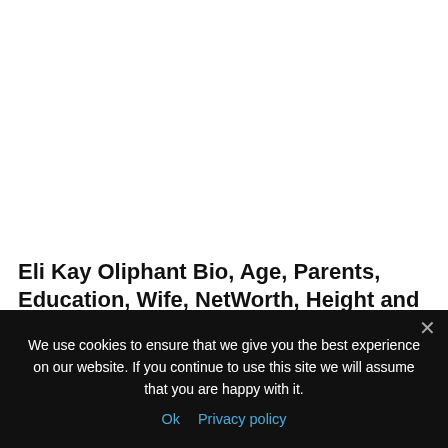Eli Kay Oliphant Bio, Age, Parents, Education, Wife, NetWorth, Height and Weight
We use cookies to ensure that we give you the best experience on our website. If you continue to use this site we will assume that you are happy with it.
Ok   Privacy policy